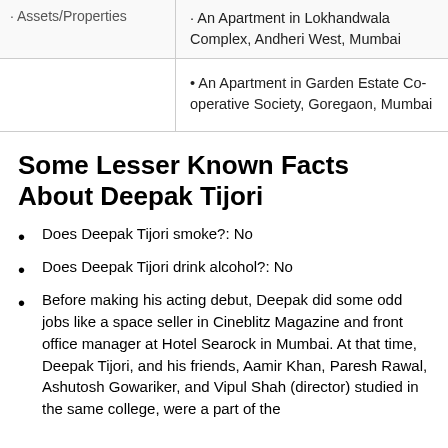| Assets/Properties |  |
| --- | --- |
| Assets/Properties | • An Apartment in Lokhandwala Complex, Andheri West, Mumbai |
|  | • An Apartment in Garden Estate Co-operative Society, Goregaon, Mumbai |
Some Lesser Known Facts About Deepak Tijori
Does Deepak Tijori smoke?: No
Does Deepak Tijori drink alcohol?: No
Before making his acting debut, Deepak did some odd jobs like a space seller in Cineblitz Magazine and front office manager at Hotel Searock in Mumbai. At that time, Deepak Tijori, and his friends, Aamir Khan, Paresh Rawal, Ashutosh Gowariker, and Vipul Shah (director) studied in the same college, were a part of the